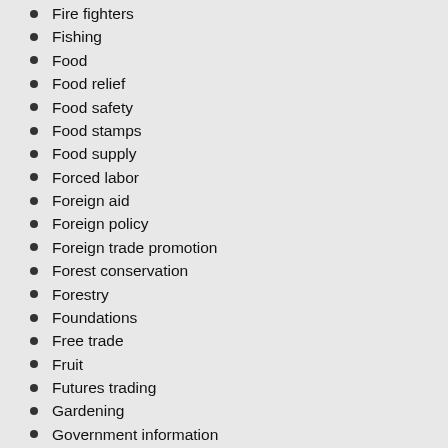Fire fighters
Fishing
Food
Food relief
Food safety
Food stamps
Food supply
Forced labor
Foreign aid
Foreign policy
Foreign trade promotion
Forest conservation
Forestry
Foundations
Free trade
Fruit
Futures trading
Gardening
Government information
Government lending
Government paperwork
Government publicity
Grain
Grassland ecology
Grazing